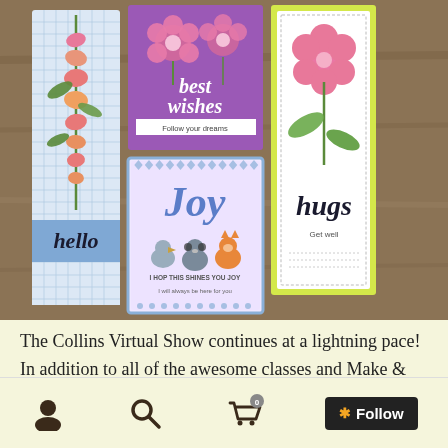[Figure (photo): Collection of handmade greeting cards on a wooden table: a tall bookmark card with foxglove flowers and 'hello'/'I miss you' text on blue grid background, a purple 'best wishes/Follow your dreams' card with pink flowers, a lime green 'hugs/Get well' card with red geranium, a 'Joy' card with blue diamond border pattern and cute animal characters, text reads 'I HOP THIS SHINES YOU JOY' / 'I will always be here for you']
The Collins Virtual Show continues at a lightning pace! In addition to all of the awesome classes and Make & Takes
Navigation bar with user icon, search icon, cart icon (0), and Follow button